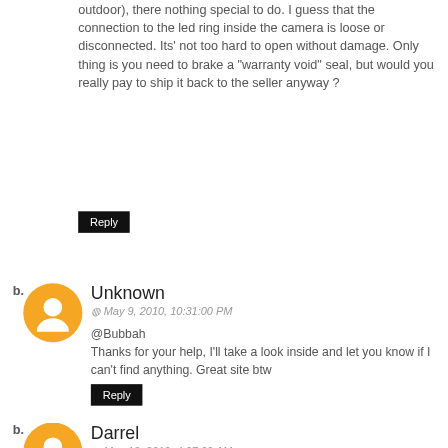outdoor), there nothing special to do. I guess that the connection to the led ring inside the camera is loose or disconnected. Its' not too hard to open without damage. Only thing is you need to brake a "warranty void" seal, but would you really pay to ship it back to the seller anyway ?
Reply
Unknown
May 9, 2010, 10:31:00 PM
@Bubbah
Thanks for your help, I'll take a look inside and let you know if I can't find anything. Great site btw
Reply
Darrel
May 13, 2010, 4:07:00 AM
Origen, Frederick, I bought from usaHitec and also have this issue, no IRs. Did you find a fix, or wind up exchanging?
Reply